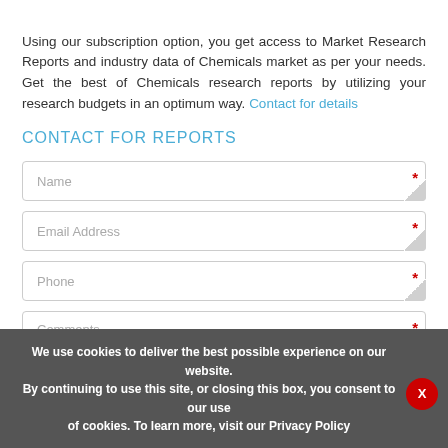Using our subscription option, you get access to Market Research Reports and industry data of Chemicals market as per your needs. Get the best of Chemicals research reports by utilizing your research budgets in an optimum way. Contact for details
CONTACT FOR REPORTS
Name (required)
Email Address (required)
Phone (required)
Comments (required)
We use cookies to deliver the best possible experience on our website. By continuing to use this site, or closing this box, you consent to our use of cookies. To learn more, visit our Privacy Policy